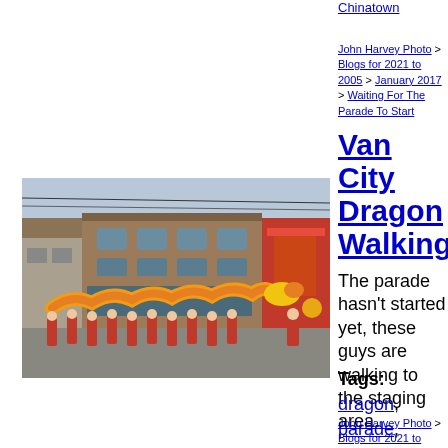Chinatown
John Harvey Photo > Blogs for 2021 to 2005 > January 2017 > Waiting For The Parade To Start
Van City Dragon Walking
[Figure (photo): Dragon dance performers in red jackets walking a large yellow dragon costume down a Chinatown street, lined with brick buildings, during a Chinese New Year parade pre-staging]
The parade hasn't started yet, these guys are walking to the staging area.
Tags: dragon, parade, Vancouver Chinatown
John Harvey Photo > Blogs for 2021 to 2005 > January 2017 > Van City Dragon Walking